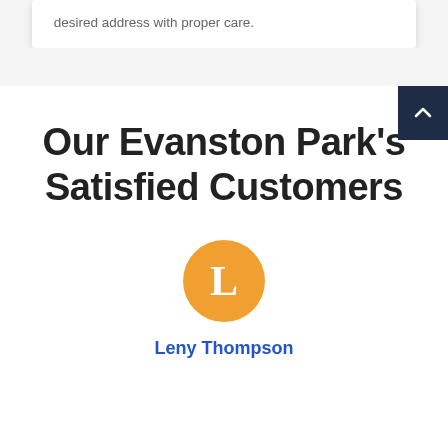desired address with proper care.
Our Evanston Park's Satisfied Customers
[Figure (illustration): Orange circle avatar with white letter L representing customer Leny Thompson]
Leny Thompson